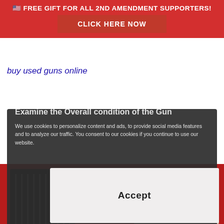[Figure (infographic): Red banner advertisement: flag emoji, FREE GIFT FOR ALL 2ND AMENDMENT SUPPORTERS! with a dark red CLICK HERE NOW button]
buy used guns online
We use cookies to personalize content and ads, to provide social media features and to analyze our traffic. You consent to our cookies if you continue to use our website.
Examine the Overall condition of the Gun
Accept
[Figure (photo): Gun shop interior with dark gun cabinet on left displaying rifles and a storefront on right, on red background]